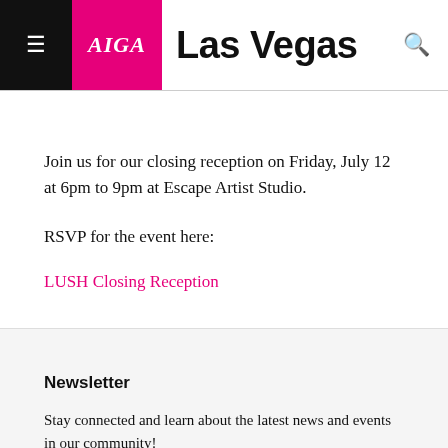AIGA Las Vegas
Join us for our closing reception on Friday, July 12 at 6pm to 9pm at Escape Artist Studio.
RSVP for the event here:
LUSH Closing Reception
Newsletter
Stay connected and learn about the latest news and events in our community!